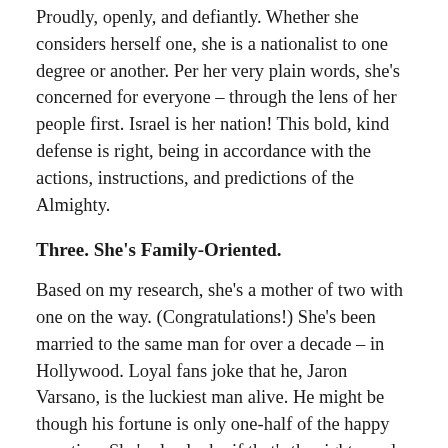Proudly, openly, and defiantly. Whether she considers herself one, she is a nationalist to one degree or another. Per her very plain words, she's concerned for everyone – through the lens of her people first. Israel is her nation! This bold, kind defense is right, being in accordance with the actions, instructions, and predictions of the Almighty.
Three. She's Family-Oriented.
Based on my research, she's a mother of two with one on the way. (Congratulations!) She's been married to the same man for over a decade – in Hollywood. Loyal fans joke that he, Jaron Varsano, is the luckiest man alive. He might be though his fortune is only one-half of the happy equation. She's also lucky if that's the right word. She's a wonderful mother, wife, daughter, relative, and friend. Some of the trolls have stooped so low as to wish her children harm, which really tells one everything about the